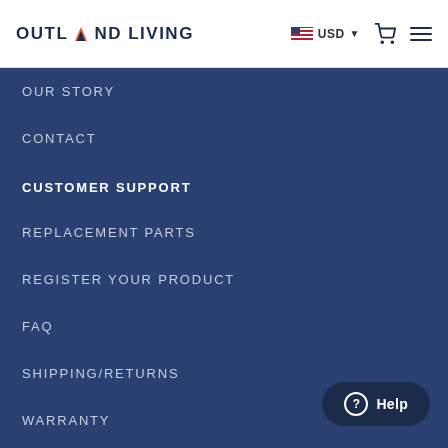OUTLAND LIVING — USD — Cart — Menu
OUR STORY
CONTACT
CUSTOMER SUPPORT
REPLACEMENT PARTS
REGISTER YOUR PRODUCT
FAQ
SHIPPING/RETURNS
WARRANTY
PRIVACY POLICY
Help